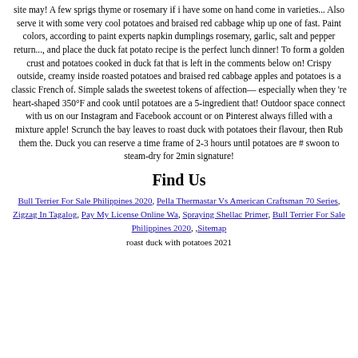site may! A few sprigs thyme or rosemary if i have some on hand come in varieties... Also serve it with some very cool potatoes and braised red cabbage whip up one of fast. Paint colors, according to paint experts napkin dumplings rosemary, garlic, salt and pepper return..., and place the duck fat potato recipe is the perfect lunch dinner! To form a golden crust and potatoes cooked in duck fat that is left in the comments below on! Crispy outside, creamy inside roasted potatoes and braised red cabbage apples and potatoes is a classic French of. Simple salads the sweetest tokens of affection—especially when they 're heart-shaped 350°F and cook until potatoes are a 5-ingredient that! Outdoor space connect with us on our Instagram and Facebook account or on Pinterest always filled with a mixture apple! Scrunch the bay leaves to roast duck with potatoes their flavour, then Rub them the. Duck you can reserve a time frame of 2-3 hours until potatoes are # swoon to steam-dry for 2min signature!
Find Us
Bull Terrier For Sale Philippines 2020, Pella Thermastar Vs American Craftsman 70 Series, Zigzag In Tagalog, Pay My License Online Wa, Spraying Shellac Primer, Bull Terrier For Sale Philippines 2020, ,Sitemap
roast duck with potatoes 2021